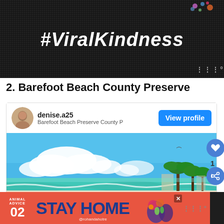[Figure (photo): Dark textured background with white bold italic hashtag text '#ViralKindness' centered]
2. Barefoot Beach County Preserve
[Figure (screenshot): Social media card showing user profile 'denise.a25' with location 'Barefoot Beach Preserve County' and a 'View profile' button, followed by a beach photo with blue sky, clouds, palm trees, ocean waves, white sand, and birds (herons) walking on the beach. Heart like button with count 1 and share button visible on right side.]
[Figure (photo): Advertisement banner: red/coral background with 'ANIMAL ADVICE 02' on left, 'STAY HOME' in large blue text, '@rohandahotre' credit, cartoon mushroom/plant illustration, close button, and Weave logo]